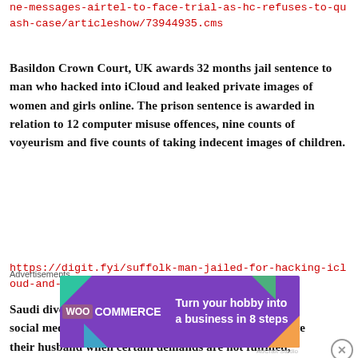ne-messages-airtel-to-face-trial-as-hc-refuses-to-quash-case/articleshow/73944935.cms
Basildon Crown Court, UK awards 32 months jail sentence to man who hacked into iCloud and leaked private images of women and girls online. The prison sentence is awarded in relation to 12 computer misuse offences, nine counts of voyeurism and five counts of taking indecent images of children.
https://digit.fyi/suffolk-man-jailed-for-hacking-icloud-and-sharing-indecent-images-online/
Saudi divorced woman arrested for ‘indecent’ posts on social media which includes encouraging women to leave their husband when certain demands are not fulfilled, hosting matchmaking, showcasing
Advertisements
[Figure (other): WooCommerce advertisement banner: purple background with WooCommerce logo on left, text 'Turn your hobby into a business in 8 steps' on right, decorative triangles in corners]